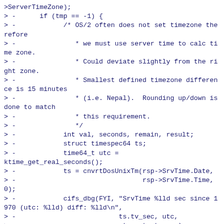>ServerTimeZone);
> -      if (tmp == -1) {
> -            /* OS/2 often does not set timezone therefore
> -               * we must use server time to calc time zone.
> -               * Could deviate slightly from the right zone.
> -               * Smallest defined timezone difference is 15 minutes
> -               * (i.e. Nepal).  Rounding up/down is done to match
> -               * this requirement.
> -               */
> -            int val, seconds, remain, result;
> -            struct timespec64 ts;
> -            time64_t utc = ktime_get_real_seconds();
> -            ts = cnvrtDosUnixTm(rsp->SrvTime.Date,
> -                                rsp->SrvTime.Time, 0);
> -            cifs_dbg(FYI, "SrvTime %lld sec since 1970 (utc: %lld) diff: %lld\n",
> -                          ts.tv_sec, utc,
> -                          utc - ts.tv_sec);
> -            val = (int)(utc - ts.tv_sec);
> -            seconds = abs(val);
> -            result = (seconds /